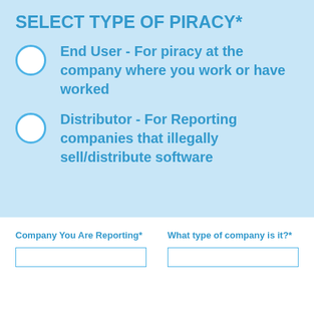SELECT TYPE OF PIRACY*
End User - For piracy at the company where you work or have worked
Distributor - For Reporting companies that illegally sell/distribute software
Company You Are Reporting*
What type of company is it?*